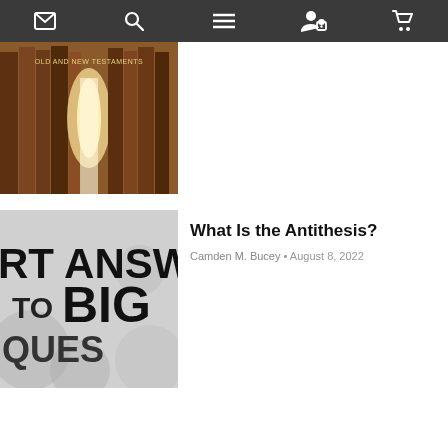Navigation bar with icons: email, search, menu, user/login, cart
[Figure (photo): Book spines with text 'OLD AND NEW TESTAMENTS' visible, warm brown tones with a glowing doorway]
[Figure (photo): Black and white blurred image showing text 'RT ANSWERS TO BIG QUES' (Short Answers to Big Questions)]
What Is the Antithesis?
Camden M. Bucey • August 8, 2022